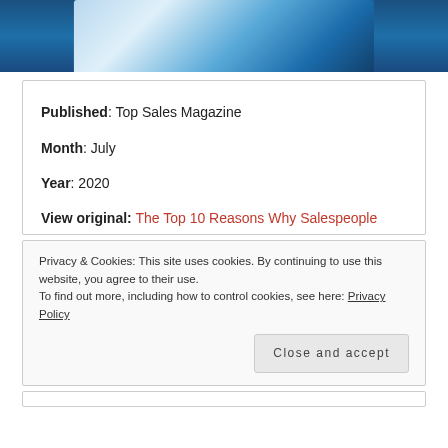[Figure (photo): Top portion of a blue-toned image, appears to show a globe or spherical object with a book, in blue gradient tones]
Published: Top Sales Magazine
Month: July
Year: 2020
View original: The Top 10 Reasons Why Salespeople
Privacy & Cookies: This site uses cookies. By continuing to use this website, you agree to their use.
To find out more, including how to control cookies, see here: Privacy Policy
Close and accept